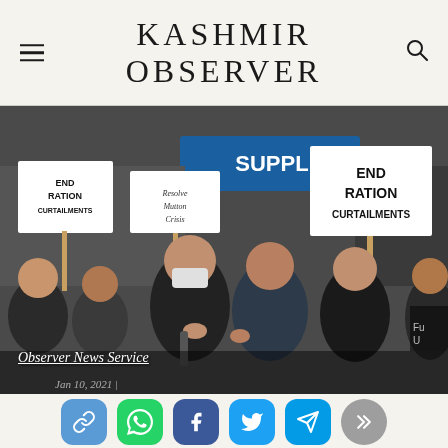KASHMIR OBSERVER
[Figure (photo): Protesters holding signs reading 'END RATION CURTAILMENTS' and 'Resolve Mutton Crisis' at an outdoor demonstration. Multiple men are visible, one wearing a face mask and holding a microphone, another pointing toward the camera. A blue storefront labeled 'SUPPL' is visible in the background.]
Observer News Service